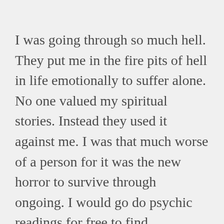I was going through so much hell. They put me in the fire pits of hell in life emotionally to suffer alone. No one valued my spiritual stories. Instead they used it against me. I was that much worse of a person for it was the new horror to survive through ongoing. I would go do psychic readings for free to find appreciation and that lasted for 20 years just doing that for free. All while others tried to enforce other roles for me to make money their way !!!! Always homeless for the worst abuses to experience throughout my life. I was in poverty disabled with children and had no propercare or supporting system to really help me out with anything. They harmed me and burdened me down